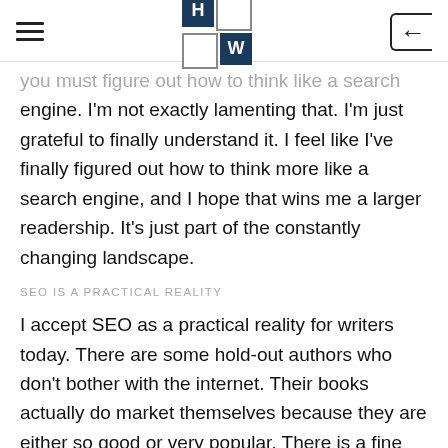HW logo and navigation header
you must figure out how to think like a search engine. I'm not exactly lamenting that. I'm just grateful to finally understand it. I feel like I've finally figured out how to think more like a search engine, and I hope that wins me a larger readership. It's just part of the constantly changing landscape.
SEO IS A PRACTICAL REALITY
I accept SEO as a practical reality for writers today. There are some hold-out authors who don't bother with the internet. Their books actually do market themselves because they are either so good or very popular. There is a fine line between writing honestly, but also writing so search